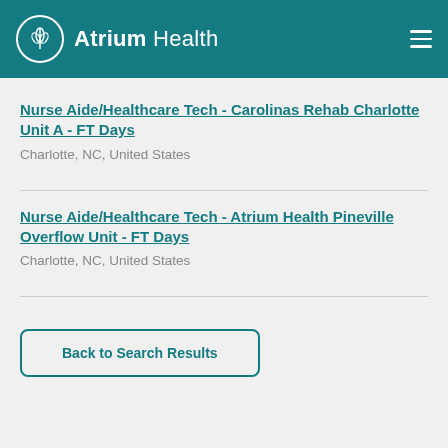Atrium Health
Nurse Aide/Healthcare Tech - Carolinas Rehab Charlotte Unit A - FT Days
Charlotte, NC, United States
Nurse Aide/Healthcare Tech - Atrium Health Pineville Overflow Unit - FT Days
Charlotte, NC, United States
Back to Search Results